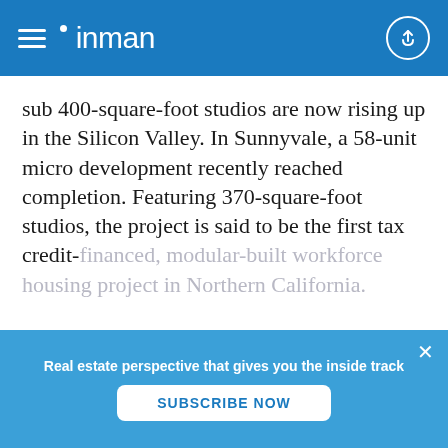inman
sub 400-square-foot studios are now rising up in the Silicon Valley. In Sunnyvale, a 58-unit micro development recently reached completion. Featuring 370-square-foot studios, the project is said to be the first tax credit-financed, modular-built workforce housing project in Northern California.
Real Estate that gives you the inside track.
Real estate perspective that gives you the inside track
SUBSCRIBE NOW